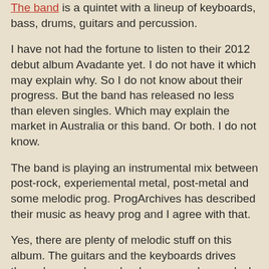The band is a quintet with a lineup of keyboards, bass, drums, guitars and percussion.
I have not had the fortune to listen to their 2012 debut album Avadante yet. I do not have it which may explain why. So I do not know about their progress. But the band has released no less than eleven singles. Which may explain the market in Australia or this band. Or both. I do not know.
The band is playing an instrumental mix between post-rock, experiemental metal, post-metal and some melodic prog. ProgArchives has described their music as heavy prog and I agree with that.
Yes, there are plenty of melodic stuff on this album. The guitars and the keyboards drives through some barren landscapes and some lush landscapes. Just as Australia itself.
This forty minutes long album is like a soundtrack to the landscapes of Australia. The first part of this album is pretty harsh with some vegetation and nice melodies. The album ends on a melodic note with a great symphonic prog theme